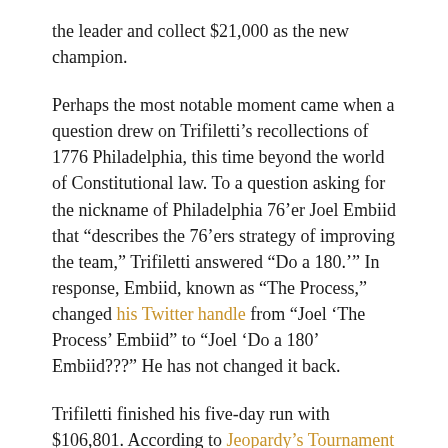the leader and collect $21,000 as the new champion.
Perhaps the most notable moment came when a question drew on Trifiletti’s recollections of 1776 Philadelphia, this time beyond the world of Constitutional law. To a question asking for the nickname of Philadelphia 76’er Joel Embiid that “describes the 76’ers strategy of improving the team,” Trifiletti answered “Do a 180.’” In response, Embiid, known as “The Process,” changed his Twitter handle from “Joel ‘The Process’ Embiid” to “Joel ‘Do a 180’ Embiid???” He has not changed it back.
Trifiletti finished his five-day run with $106,801. According to Jeopardy’s Tournament of Champions Tracker, he is poised to return for the program’s 15-player tournament of the season’s top champions.